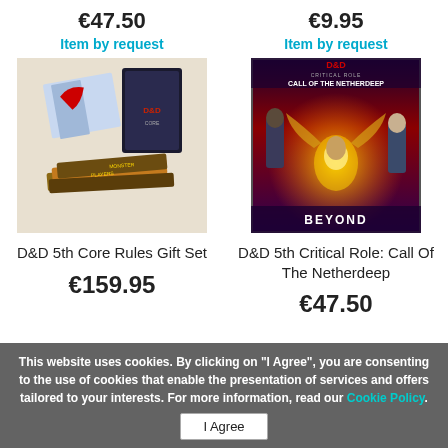€47.50
Item by request
€9.95
Item by request
[Figure (photo): D&D 5th Core Rules Gift Set product image showing books and box set]
[Figure (photo): D&D 5th Critical Role: Call Of The Netherdeep book cover art]
D&D 5th Core Rules Gift Set
€159.95
D&D 5th Critical Role: Call Of The Netherdeep
€47.50
This website uses cookies. By clicking on "I Agree", you are consenting to the use of cookies that enable the presentation of services and offers tailored to your interests. For more information, read our Cookie Policy.
I Agree